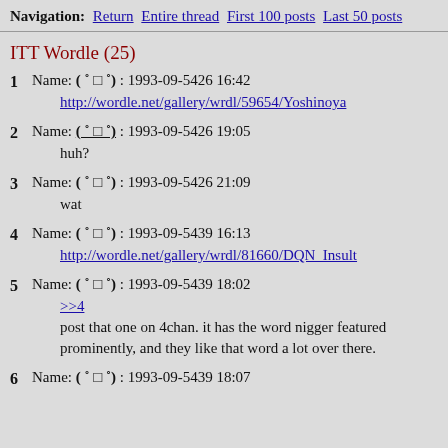Navigation: Return Entire thread First 100 posts Last 50 posts
ITT Wordle (25)
1  Name: ( ° □ °) : 1993-09-5426 16:42
http://wordle.net/gallery/wrdl/59654/Yoshinoya
2  Name: ( ° □ °) : 1993-09-5426 19:05
huh?
3  Name: ( ° □ °) : 1993-09-5426 21:09
wat
4  Name: ( ° □ °) : 1993-09-5439 16:13
http://wordle.net/gallery/wrdl/81660/DQN_Insult
5  Name: ( ° □ °) : 1993-09-5439 18:02
>>4
post that one on 4chan. it has the word nigger featured prominently, and they like that word a lot over there.
6  Name: ( ° □ °) : 1993-09-5439 18:07